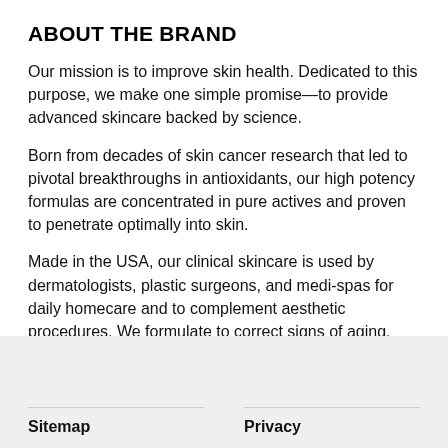ABOUT THE BRAND
Our mission is to improve skin health. Dedicated to this purpose, we make one simple promise—to provide advanced skincare backed by science.
Born from decades of skin cancer research that led to pivotal breakthroughs in antioxidants, our high potency formulas are concentrated in pure actives and proven to penetrate optimally into skin.
Made in the USA, our clinical skincare is used by dermatologists, plastic surgeons, and medi-spas for daily homecare and to complement aesthetic procedures. We formulate to correct signs of aging, protect healthy skin, and prevent future damage.
Sitemap   Privacy